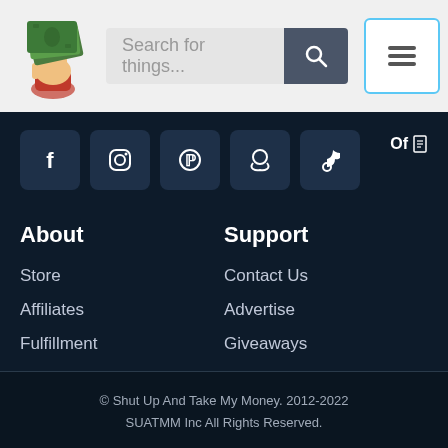[Figure (logo): Hand holding money/cash bills logo icon]
Search for things...
[Figure (illustration): Burger/hamburger menu icon button]
[Figure (illustration): Social media icons: Facebook, Instagram, Pinterest, Snapchat, TikTok]
Of
About
Store
Affiliates
Fulfillment
Investors
Support
Contact Us
Advertise
Giveaways
© Shut Up And Take My Money. 2012-2022 SUATMM Inc All Rights Reserved.